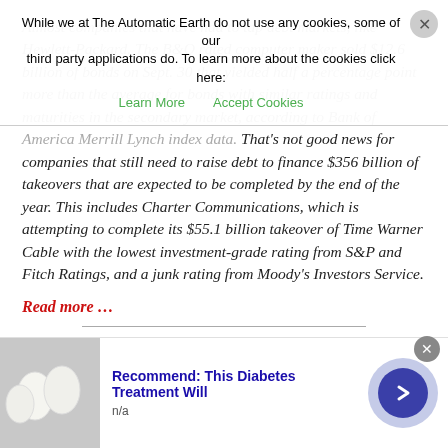[faded/partially visible] Almost companies that have had to tap debt markets, like Hewlett-Packard. The B&Q rated computer maker sold $12.6 billion of bonds on Sept. 30 that yielded half a percentage point more than the average for bonds with similar ratings and maturities in the secondary market, according to Bank of America Merrill Lynch index data. That's not good news for companies that still need to raise debt to finance $356 billion of takeovers that are expected to be completed by the end of the year. This includes Charter Communications, which is attempting to complete its $55.1 billion takeover of Time Warner Cable with the lowest investment-grade rating from S&P and Fitch Ratings, and a junk rating from Moody's Investors Service.
Read more …
“On the basis of its record, the financial system as constituted in the years 1900-1913 must be considered to have been successful to an extent rarely equalled in the United States.”
[Figure (other): Cookie consent overlay banner with 'Learn More' and 'Accept Cookies' links and a close button]
[Figure (other): Advertisement banner at the bottom: 'Recommend: This Diabetes Treatment Will' with image of white eggs, n/a label, and a circular arrow button]